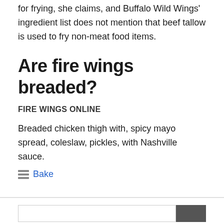for frying, she claims, and Buffalo Wild Wings' ingredient list does not mention that beef tallow is used to fry non-meat food items.
Are fire wings breaded?
FIRE WINGS ONLINE
Breaded chicken thigh with, spicy mayo spread, coleslaw, pickles, with Nashville sauce.
Bake